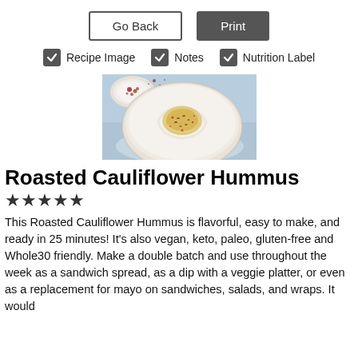Go Back | Print
✓ Recipe Image  ✓ Notes  ✓ Nutrition Label
[Figure (photo): A white bowl filled with creamy roasted cauliflower hummus topped with olive oil, seeds, and red pepper flakes. A small bowl of red pepper flakes sits in the upper left corner. The background is light blue.]
Roasted Cauliflower Hummus
★★★★★
This Roasted Cauliflower Hummus is flavorful, easy to make, and ready in 25 minutes! It's also vegan, keto, paleo, gluten-free and Whole30 friendly. Make a double batch and use throughout the week as a sandwich spread, as a dip with a veggie platter, or even as a replacement for mayo on sandwiches, salads, and wraps. It would